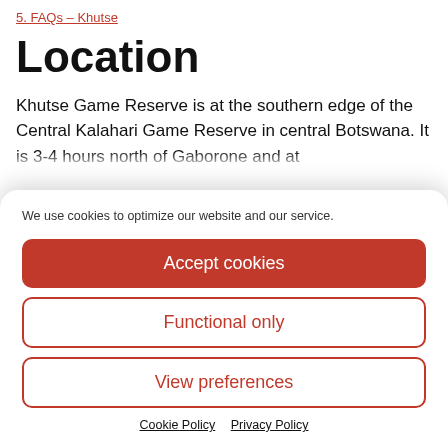5. FAQs – Khutse
Location
Khutse Game Reserve is at the southern edge of the Central Kalahari Game Reserve in central Botswana. It is 3-4 hours north of Gaborone and at
We use cookies to optimize our website and our service.
Accept cookies
Functional only
View preferences
Cookie Policy   Privacy Policy